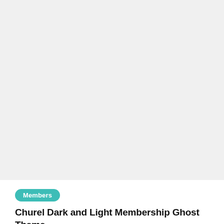[Figure (other): Large light gray rectangular area filling the top portion of the page, appearing to be a placeholder or blank image area.]
Members
Churel Dark and Light Membership Ghost Theme